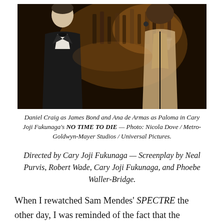[Figure (photo): Daniel Craig in a tuxedo as James Bond and Ana de Armas in a backless black dress as Paloma, standing at a bar with bottles and martini glasses in the background. Bar scene from No Time To Die.]
Daniel Craig as James Bond and Ana de Armas as Paloma in Cary Joji Fukunaga's NO TIME TO DIE — Photo: Nicola Dove / Metro-Goldwyn-Mayer Studios / Universal Pictures.
Directed by Cary Joji Fukunaga — Screenplay by Neal Purvis, Robert Wade, Cary Joji Fukunaga, and Phoebe Waller-Bridge.
When I rewatched Sam Mendes' SPECTRE the other day, I was reminded of the fact that the previous